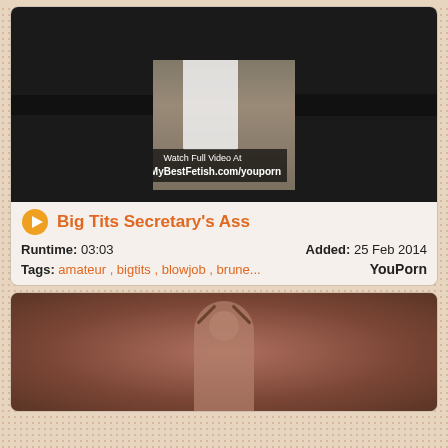[Figure (screenshot): Video thumbnail showing office scene with two people, watermark text 'Watch Full Video At www.MyBestFetish.com/youporn']
Big Tits Secretary's Ass
Runtime: 03:03   Added: 25 Feb 2014
Tags: amateur , bigtits , blowjob , brune...   YouPorn
[Figure (screenshot): Video thumbnail showing woman in bondage/fetish scene with collar and cuffs against brown background]